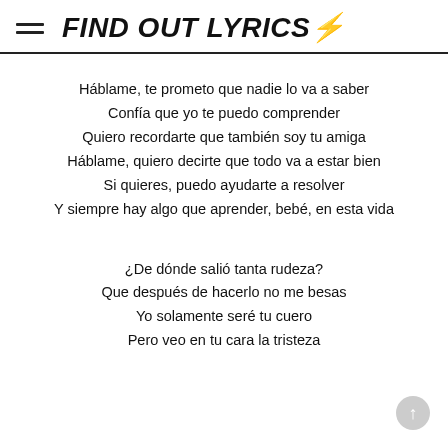FIND OUT LYRICS⚡
Háblame, te prometo que nadie lo va a saber
Confía que yo te puedo comprender
Quiero recordarte que también soy tu amiga
Háblame, quiero decirte que todo va a estar bien
Si quieres, puedo ayudarte a resolver
Y siempre hay algo que aprender, bebé, en esta vida
¿De dónde salió tanta rudeza?
Que después de hacerlo no me besas
Yo solamente seré tu cuero
Pero veo en tu cara la tristeza